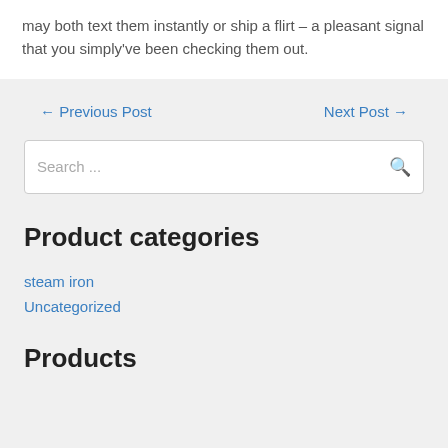may both text them instantly or ship a flirt – a pleasant signal that you simply've been checking them out.
← Previous Post
Next Post →
Search ...
Product categories
steam iron
Uncategorized
Products